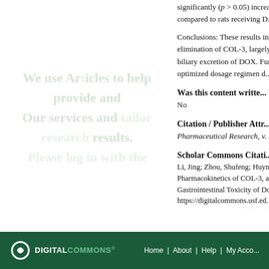significantly (p > 0.05) increas... compared to rats receiving D...
Conclusions: These results in... elimination of COL-3, largely... biliary excretion of DOX. Furt... optimized dosage regimen d...
Was this content writte...
No
Citation / Publisher Attr...
Pharmaceutical Research, v. ...
Scholar Commons Citati...
Li, Jing; Zhou, Shufeng; Huynh,... Pharmacokinetics of COL-3, a ... Gastrointestinal Toxicity of Do... https://digitalcommons.usf.ed...
Home | About | Help | My Acco...